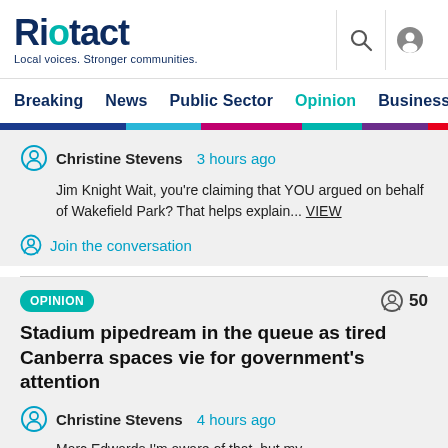Riotact — Local voices. Stronger communities.
Breaking  News  Public Sector  Opinion  Business
Christine Stevens  3 hours ago
Jim Knight Wait, you're claiming that YOU argued on behalf of Wakefield Park? That helps explain... VIEW
Join the conversation
OPINION  50
Stadium pipedream in the queue as tired Canberra spaces vie for government's attention
Christine Stevens  4 hours ago
Marc Edwards I'm aware of that, but my